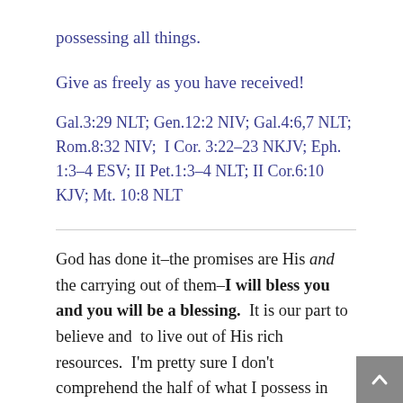possessing all things.
Give as freely as you have received!
Gal.3:29 NLT; Gen.12:2 NIV; Gal.4:6,7 NLT; Rom.8:32 NIV; I Cor. 3:22–23 NKJV; Eph. 1:3–4 ESV; II Pet.1:3–4 NLT; II Cor.6:10 KJV; Mt. 10:8 NLT
God has done it–the promises are His and the carrying out of them–I will bless you and you will be a blessing. It is our part to believe and to live out of His rich resources. I'm pretty sure I don't comprehend the half of what I possess in